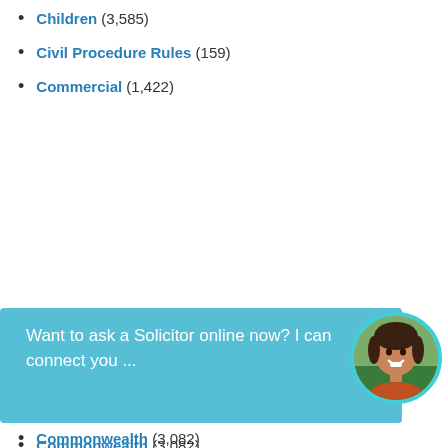Children (3,585)
Civil Procedure Rules (159)
Commercial (1,422)
[Figure (screenshot): Chat widget overlay: teal/blue chat bubble with text 'Want to ask a Solicitor online now? I can connect you ...' and a circular avatar photo of a smiling woman on the right.]
Commonwealth (3,082)
Company (2,000+)